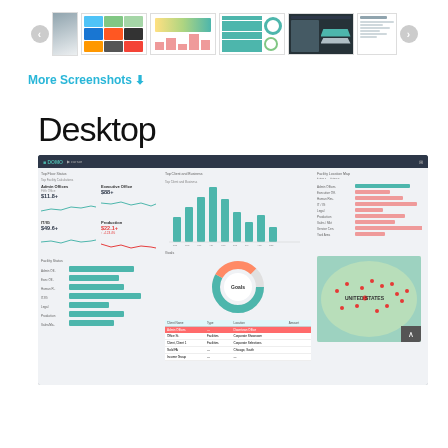[Figure (screenshot): Carousel of dashboard screenshot thumbnails with left/right navigation arrows]
More Screenshots ⬇
Desktop
[Figure (screenshot): Desktop dashboard screenshot showing KPI tiles, bar chart, donut chart, horizontal bar chart, data table, and US map]